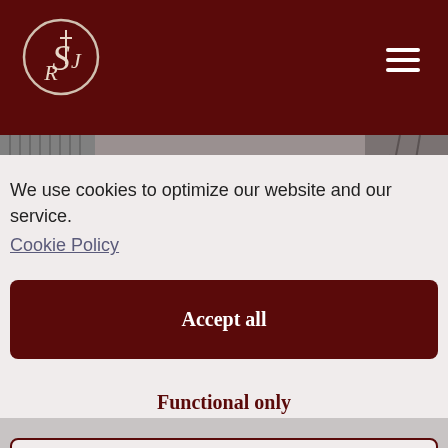[Figure (logo): Circular logo with stylized S, J, R letters in white on dark maroon background, with a cross]
[Figure (photo): Black and white photograph of a building exterior with trees]
We use cookies to optimize our website and our service.
Cookie Policy
Accept all
Functional only
View preferences